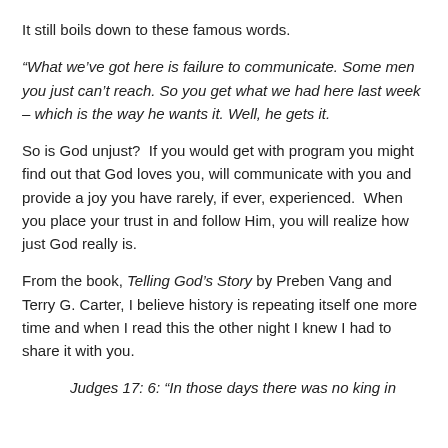It still boils down to these famous words.
“What we’ve got here is failure to communicate. Some men you just can’t reach. So you get what we had here last week – which is the way he wants it. Well, he gets it.
So is God unjust?  If you would get with program you might find out that God loves you, will communicate with you and provide a joy you have rarely, if ever, experienced.  When you place your trust in and follow Him, you will realize how just God really is.
From the book, Telling God’s Story by Preben Vang and Terry G. Carter, I believe history is repeating itself one more time and when I read this the other night I knew I had to share it with you.
Judges 17: 6: “In those days there was no king in